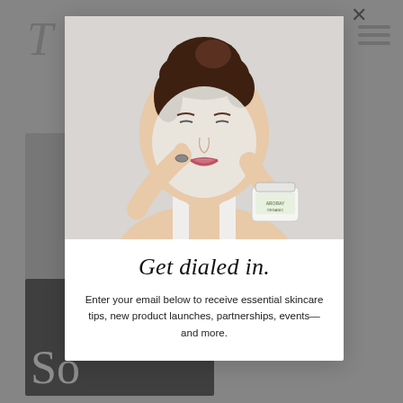[Figure (photo): Screenshot of a website with a modal popup overlay. Background shows a dimmed webpage with a logo letter 'T' in italic script, a hamburger menu icon, product images in the left column, and a dark image block with large text beginning 'So'. In the foreground is a white modal dialog containing a photo of a woman with a white face mask applying skincare product, holding a jar of cream, followed by the heading 'Get dialed in.' and descriptive text.]
Get dialed in.
Enter your email below to receive essential skincare tips, new product launches, partnerships, events—and more.